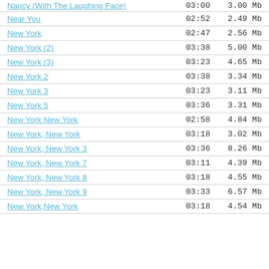| Name | Duration | Size |
| --- | --- | --- |
| Nancy (With The Laughing Face) | 03:00 | 3.00 Mb |
| Near You | 02:52 | 2.49 Mb |
| New York | 02:47 | 2.56 Mb |
| New York (2) | 03:38 | 5.00 Mb |
| New York (3) | 03:23 | 4.65 Mb |
| New York 2 | 03:38 | 3.34 Mb |
| New York 3 | 03:23 | 3.11 Mb |
| New York 5 | 03:36 | 3.31 Mb |
| New York New York | 02:58 | 4.84 Mb |
| New York, New York | 03:18 | 3.02 Mb |
| New York, New York 3 | 03:36 | 8.26 Mb |
| New York, New York 7 | 03:11 | 4.39 Mb |
| New York, New York 8 | 03:18 | 4.55 Mb |
| New York, New York 9 | 03:33 | 6.57 Mb |
| New York,New York | 03:18 | 4.54 Mb |